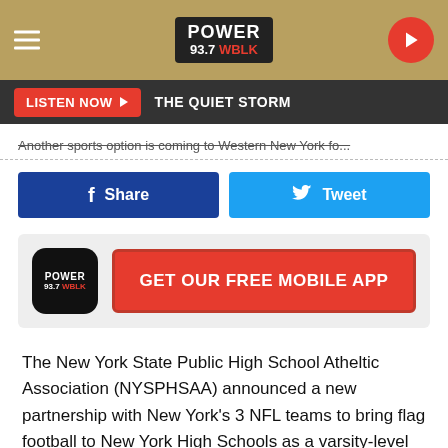POWER 93.7 WBLK
LISTEN NOW ▶  THE QUIET STORM
Another sports option is coming to Western New York fo...
f Share   Tweet
[Figure (infographic): Power 93.7 WBLK app icon with GET OUR FREE MOBILE APP button]
The New York State Public High School Atheltic Association (NYSPHSAA) announced a new partnership with New York's 3 NFL teams to bring flag football to New York High Schools as a varsity-level sport. This new partnership will start out with 48 New York High Schools in a pilot program and is